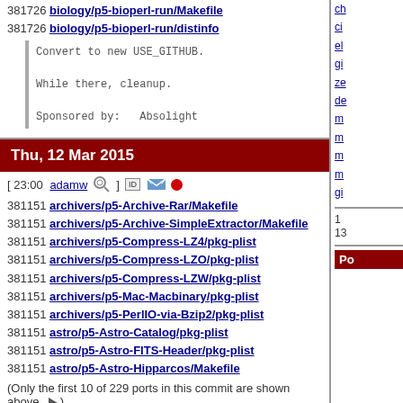381726 biology/p5-bioperl-run/Makefile
381726 biology/p5-bioperl-run/distinfo
Convert to new USE_GITHUB.

While there, cleanup.

Sponsored by:   Absolight
Thu, 12 Mar 2015
[ 23:00 adamw ] [icons]
381151 archivers/p5-Archive-Rar/Makefile
381151 archivers/p5-Archive-SimpleExtractor/Makefile
381151 archivers/p5-Compress-LZ4/pkg-plist
381151 archivers/p5-Compress-LZO/pkg-plist
381151 archivers/p5-Compress-LZW/pkg-plist
381151 archivers/p5-Mac-Macbinary/pkg-plist
381151 archivers/p5-PerlIO-via-Bzip2/pkg-plist
381151 astro/p5-Astro-Catalog/pkg-plist
381151 astro/p5-Astro-FITS-Header/pkg-plist
381151 astro/p5-Astro-Hipparcos/Makefile
(Only the first 10 of 229 ports in this commit are shown above. ▶)
Some OCD cleanups on some of the perl@ ports.